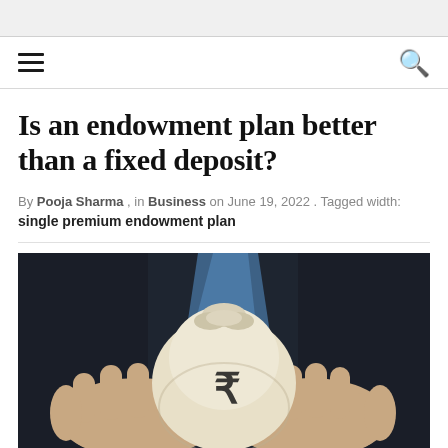Is an endowment plan better than a fixed deposit?
By Pooja Sharma , in Business on June 19, 2022 . Tagged width: single premium endowment plan
[Figure (photo): A person in a suit holding a white money bag with a rupee symbol on it, against a dark background with a blue tie visible]